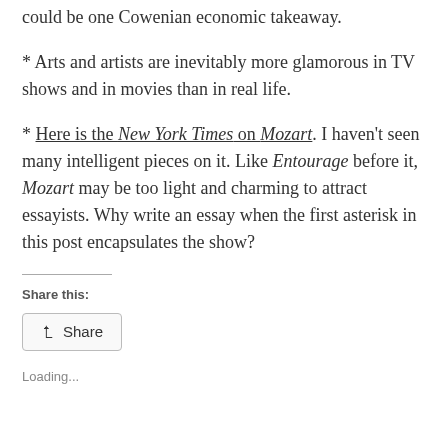* could be one Cowenian economic takeaway.
* Arts and artists are inevitably more glamorous in TV shows and in movies than in real life.
* Here is the New York Times on Mozart. I haven’t seen many intelligent pieces on it. Like Entourage before it, Mozart may be too light and charming to attract essayists. Why write an essay when the first asterisk in this post encapsulates the show?
Share this:
Share
Loading...